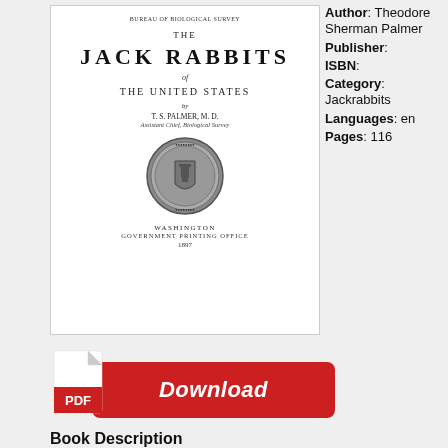[Figure (illustration): Book cover of 'The Jack Rabbits of the United States' by T.S. Palmer, M.D., Assistant Chief, Biological Survey, published by Washington Government Printing Office, 1897, with a circular seal/emblem in the center.]
Author: Theodore Sherman Palmer Publisher: ISBN: Category: Jackrabbits Languages: en Pages: 116
[Figure (illustration): Red Download button with PDF icon on the left, showing 'Download' text in white italic bold font.]
Book Description